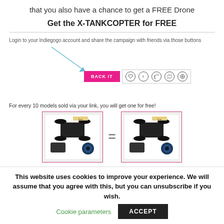that you also have a chance to get a FREE Drone
Get the X-TANKCOPTER for FREE
Login to your Indiegogo account and share the campaign with friends via those buttons
[Figure (screenshot): Screenshot of Indiegogo campaign page showing a pink BACK IT button and social share icons (heart, Facebook, Twitter, link, plus)]
For every 10 models sold via your link, you will get one for free!
[Figure (photo): Two X-TANKCOPTER drone product boxes side by side with an equals sign between them, each box showing the drone and accessories]
This website uses cookies to improve your experience. We will assume that you agree with this, but you can unsubscribe if you wish.
Cookie parameters
ACCEPT